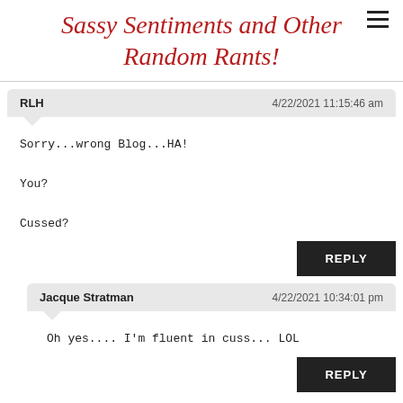Sassy Sentiments and Other Random Rants!
RLH   4/22/2021 11:15:46 am
Sorry...wrong Blog...HA!

You?

Cussed?
REPLY
Jacque Stratman   4/22/2021 10:34:01 pm
Oh yes.... I'm fluent in cuss... LOL
REPLY